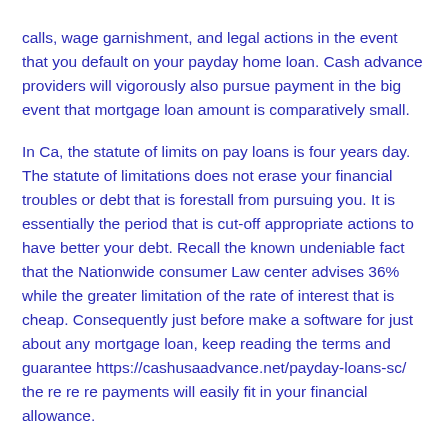calls, wage garnishment, and legal actions in the event that you default on your payday home loan. Cash advance providers will vigorously also pursue payment in the big event that mortgage loan amount is comparatively small.
In Ca, the statute of limits on pay loans is four years day. The statute of limitations does not erase your financial troubles or debt that is forestall from pursuing you. It is essentially the period that is cut-off appropriate actions to have better your debt. Recall the known undeniable fact that the Nationwide consumer Law center advises 36% while the greater limitation of the rate of interest that is cheap. Consequently just before make a software for just about any mortgage loan, keep reading the terms and guarantee https://cashusaadvance.net/payday-loans-sc/ the re re re payments will easily fit in your financial allowance.